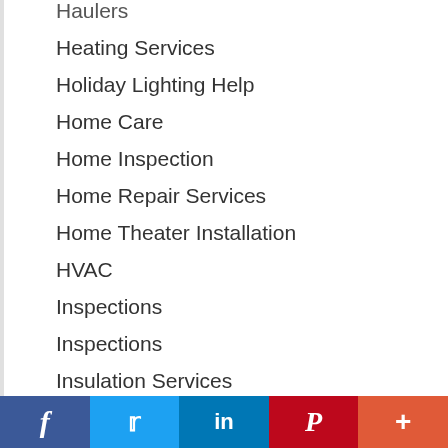Haulers
Heating Services
Holiday Lighting Help
Home Care
Home Inspection
Home Repair Services
Home Theater Installation
HVAC
Inspections
Inspections
Insulation Services
Insurance
Interior Painting
Internet Service
f  Twitter  in  P  +